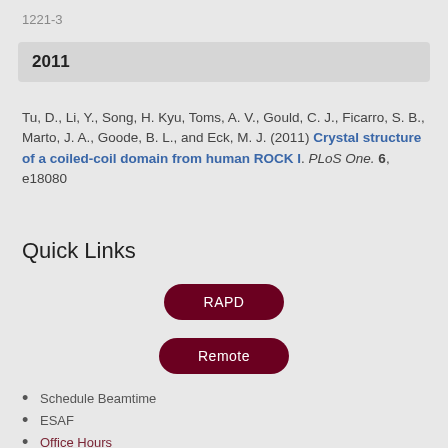1221-3
| Year |
| --- |
| 2011 |
Tu, D., Li, Y., Song, H. Kyu, Toms, A. V., Gould, C. J., Ficarro, S. B., Marto, J. A., Goode, B. L., and Eck, M. J. (2011) Crystal structure of a coiled-coil domain from human ROCK I. PLoS One. 6, e18080
Quick Links
[Figure (other): Button labeled RAPD with dark red rounded rectangle background]
[Figure (other): Button labeled Remote with dark red rounded rectangle background]
Schedule Beamtime
ESAF
Office Hours
Shipping Information
Remote Instructions